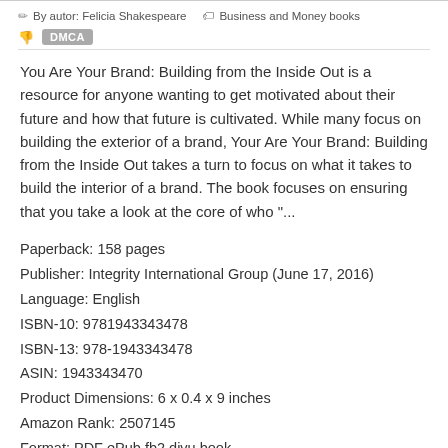By autor: Felicia Shakespeare   Business and Money books
You Are Your Brand: Building from the Inside Out is a resource for anyone wanting to get motivated about their future and how that future is cultivated. While many focus on building the exterior of a brand, Your Are Your Brand: Building from the Inside Out takes a turn to focus on what it takes to build the interior of a brand. The book focuses on ensuring that you take a look at the core of who "...
Paperback: 158 pages
Publisher: Integrity International Group (June 17, 2016)
Language: English
ISBN-10: 9781943343478
ISBN-13: 978-1943343478
ASIN: 1943343470
Product Dimensions: 6 x 0.4 x 9 inches
Amazon Rank: 2507145
Format: PDF ePub fb2 djvu book